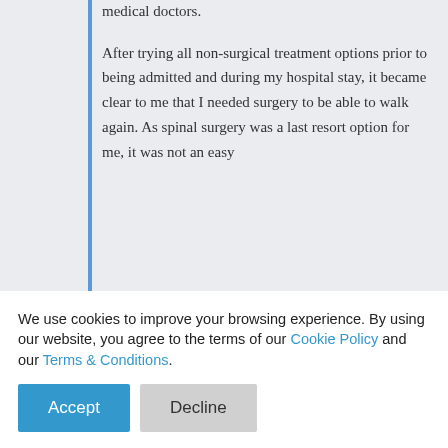medical doctors.
After trying all non-surgical treatment options prior to being admitted and during my hospital stay, it became clear to me that I needed surgery to be able to walk again. As spinal surgery was a last resort option for me, it was not an easy
provided me a bill of the necessary information and required, given that it was clear that the surgery
We use cookies to improve your browsing experience. By using our website, you agree to the terms of our Cookie Policy and our Terms & Conditions.